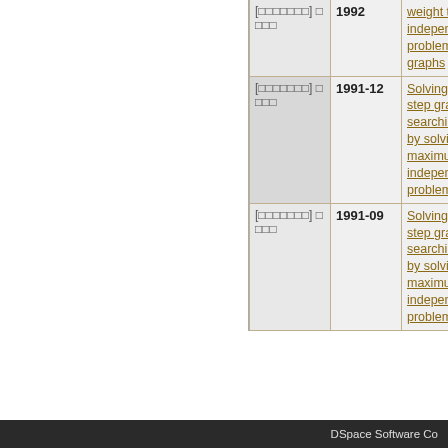| Author | Date | Title |
| --- | --- | --- |
| [□□□□□□□] □□□□ | 1992 | weight two-independent set problem on block graphs |
| [□□□□□□□] □□□□ | 1991-12 | Solving the single step graph searching problem by solving the maximum two-independent set problem |
| [□□□□□□□] □□□□ | 1991-09 | Solving the single step graph searching problem by solving the maximum two-independent set problem |
DSpace Software Co